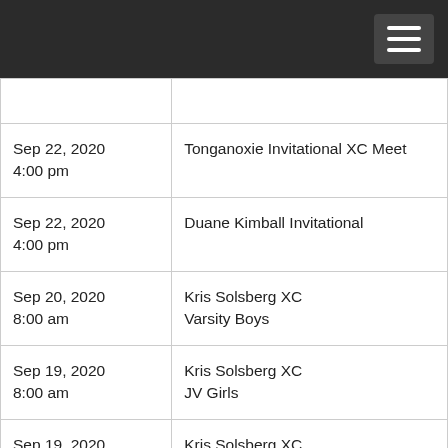| Date | Event |
| --- | --- |
| Sep 22, 2020
4:00 pm | Tonganoxie Invitational XC Meet |
| Sep 22, 2020
4:00 pm | Duane Kimball Invitational |
| Sep 20, 2020
8:00 am | Kris Solsberg XC
Varsity Boys |
| Sep 19, 2020
8:00 am | Kris Solsberg XC
JV Girls |
| Sep 19, 2020
8:00 am | Kris Solsberg XC
JV Boys |
| Sep 19, 2020 | Kris Solsberg XC |